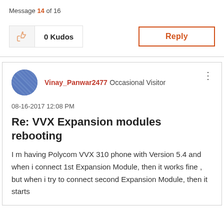Message 14 of 16
0 Kudos
Reply
Vinay_Panwar2477 Occasional Visitor
08-16-2017 12:08 PM
Re: VVX Expansion modules rebooting
I m having Polycom VVX 310 phone with Version 5.4 and when i connect 1st Expansion Module, then it works fine , but when i try to connect second Expansion Module, then it starts